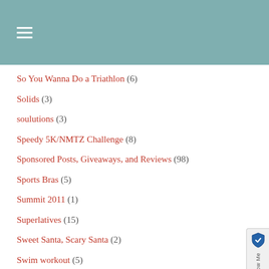≡
So You Wanna Do a Triathlon (6)
Solids (3)
soulutions (3)
Speedy 5K/NMTZ Challenge (8)
Sponsored Posts, Giveaways, and Reviews (98)
Sports Bras (5)
Summit 2011 (1)
Superlatives (15)
Sweet Santa, Scary Santa (2)
Swim workout (5)
The Naked Face Project (14)
The Silverware Drawer Year (2)
Things I Need to Do More Often (19)
Third Tri (13)